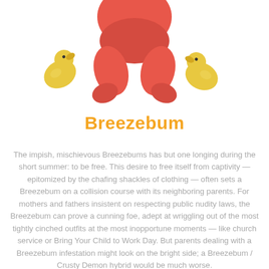[Figure (illustration): A cartoon illustration of a chubby toddler/baby running or walking, shown from below the torso. The body is rendered in coral/red-pink color showing a diaper area and chunky legs. On the lower left is a golden-yellow rubber duck. On the lower right is another golden-yellow rubber duck oriented differently. The background is white.]
Breezebum
The impish, mischievous Breezebums has but one longing during the short summer: to be free. This desire to free itself from captivity — epitomized by the chafing shackles of clothing — often sets a Breezebum on a collision course with its neighboring parents. For mothers and fathers insistent on respecting public nudity laws, the Breezebum can prove a cunning foe, adept at wriggling out of the most tightly cinched outfits at the most inopportune moments — like church service or Bring Your Child to Work Day. But parents dealing with a Breezebum infestation might look on the bright side; a Breezebum / Crusty Demon hybrid would be much worse.